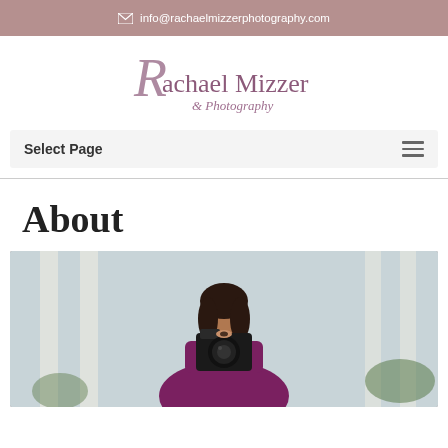✉ info@rachaelmizzerphotography.com
[Figure (logo): Rachael Mizzer Photography logo with stylized script font]
Select Page
About
[Figure (photo): Woman in a purple/magenta top holding a camera up to her face, photographed outdoors with blurred architectural columns and greenery in background]